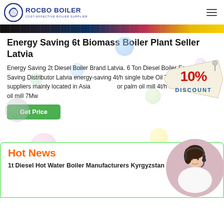ROCBO BOILER — COST-EFFECTIVE BOILER SUPPLIER
[Figure (photo): Hero banner strip showing industrial boiler equipment]
Energy Saving 6t Biomass Boiler Plant Seller Latvia
Energy Saving 2t Diesel Boiler Brand Latvia. 6 Ton Diesel Boiler Energy Saving Distributor Latvia energy-saving 4t/h single tube Oil There are 452 tph suppliers mainly located in Asia for palm oil mill 4t/h hot water for palm oil mill 7Mw
[Figure (illustration): 10% Discount badge/sticker in red and yellow]
Get Price
[Figure (photo): Customer service representative wearing headset, smiling]
Hot News
1t Diesel Hot Water Boiler Manufacturers Kyrgyzstan